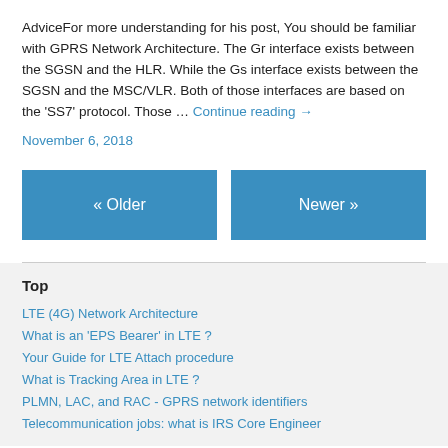AdviceFor more understanding for his post, You should be familiar with GPRS Network Architecture. The Gr interface exists between the SGSN and the HLR. While the Gs interface exists between the SGSN and the MSC/VLR. Both of those interfaces are based on the 'SS7' protocol. Those … Continue reading →
November 6, 2018
« Older
Newer »
Top
LTE (4G) Network Architecture
What is an 'EPS Bearer' in LTE ?
Your Guide for LTE Attach procedure
What is Tracking Area in LTE ?
PLMN, LAC, and RAC - GPRS network identifiers
Telecommunication jobs: what is IRS Core Engineer